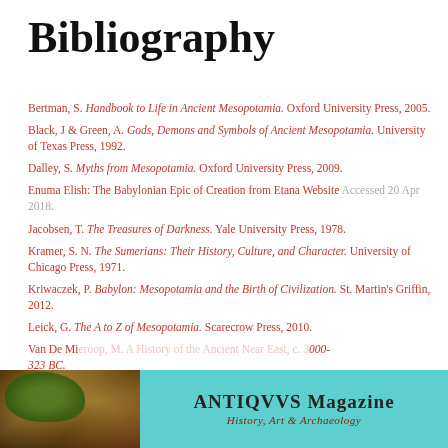Bibliography
Bertman, S. Handbook to Life in Ancient Mesopotamia. Oxford University Press, 2005.
Black, J & Green, A. Gods, Demons and Symbols of Ancient Mesopotamia. University of Texas Press, 1992.
Dalley, S. Myths from Mesopotamia. Oxford University Press, 2009.
Enuma Elish: The Babylonian Epic of Creation from Etana Website Accessed 20 Apr 2018.
Jacobsen, T. The Treasures of Darkness. Yale University Press, 1978.
Kramer, S. N. The Sumerians: Their History, Culture, and Character. University of Chicago Press, 1971.
Kriwaczek, P. Babylon: Mesopotamia and the Birth of Civilization. St. Martin's Griffin, 2012.
Leick, G. The A to Z of Mesopotamia. Scarecrow Press, 2010.
Van De Mieroop, M. A History of the Ancient Near East, c. 3000-323 BC.
Van Se...
[Figure (photo): Advertisement overlay: left side shows a photo of ancient ruins with foliage; right side shows a teal/cyan background with 'ANTIQVVS Magazine – History, Art & Archaeology']